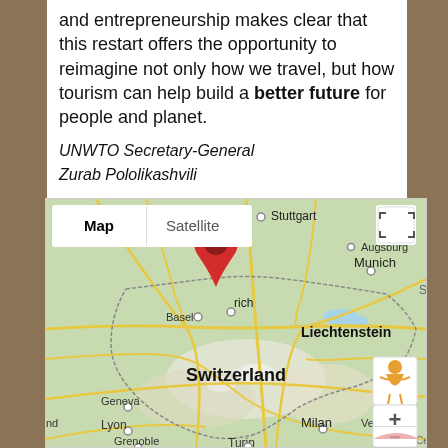and entrepreneurship makes clear that this restart offers the opportunity to reimagine not only how we travel, but how tourism can help build a better future for people and planet.
UNWTO Secretary-General
Zurab Pololikashvili
[Figure (map): Google Maps view showing Switzerland and surrounding regions. A red location pin is placed near Zurich. Cities labeled include Stuttgart, Augsburg, Munich, Basel, Liechtenstein, Geneva, Lyon, Grenoble, Turin, Milan, Verona. Map/Satellite toggle and zoom controls are visible.]